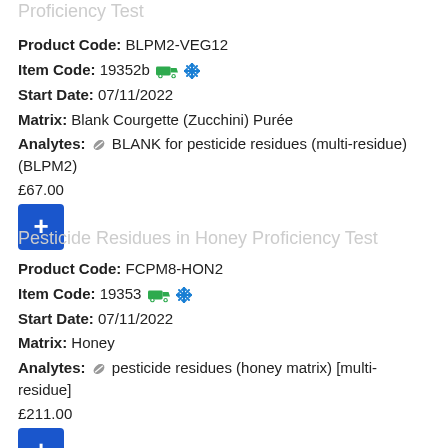Proficiency Test
Product Code: BLPM2-VEG12
Item Code: 19352b [truck] [snowflake]
Start Date: 07/11/2022
Matrix: Blank Courgette (Zucchini) Purée
Analytes: [pill] BLANK for pesticide residues (multi-residue) (BLPM2)
£67.00
Pesticide Residues in Honey Proficiency Test
Product Code: FCPM8-HON2
Item Code: 19353 [truck] [snowflake]
Start Date: 07/11/2022
Matrix: Honey
Analytes: [pill] pesticide residues (honey matrix) [multi-residue]
£211.00